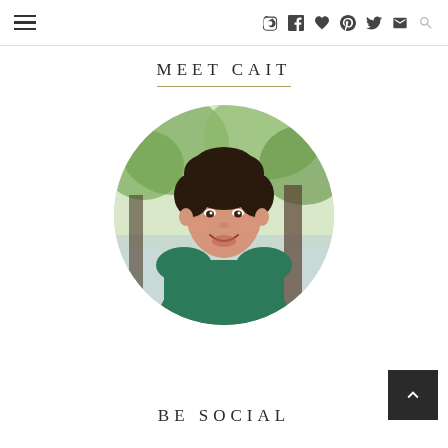Navigation header with hamburger menu and social/search icons
MEET CAIT
[Figure (photo): Circular cropped portrait photo of a young woman with curly dark hair, wearing a dark teal/green top with a delicate necklace, smiling, photographed outdoors near a lake with autumn trees in background]
BE SOCIAL